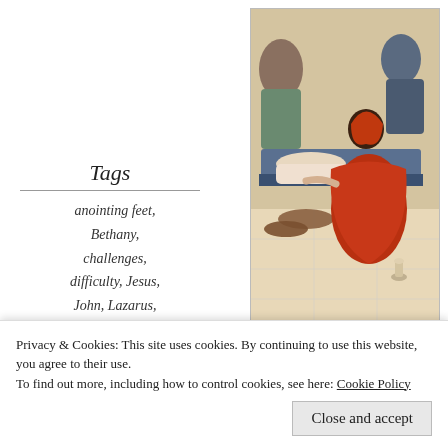[Figure (photo): Religious painting depicting a woman in red anointing the feet of a reclining figure, with people gathered in the background. A small vessel sits on the tiled floor nearby.]
Tags
anointing feet,
Bethany,
challenges,
difficulty, Jesus,
John, Lazarus,
Martha, Mary,
paschal mystery,
psalm 27,
refuge, strength,
The Lord is my light and my
After the tumultuous events of what has come to be known to us as Palm Sunday, we learn from the Scriptures that Jesus returned to Bethany to be with
Privacy & Cookies: This site uses cookies. By continuing to use this website, you agree to their use.
To find out more, including how to control cookies, see here: Cookie Policy
Close and accept